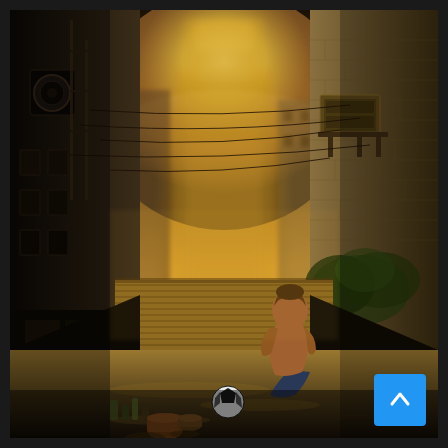[Figure (illustration): A 3D rendered or digital illustration of an urban alleyway scene at golden hour/sunset. A child sits on a rooftop or flat ground area between dense city buildings, with their back to the viewer, wearing jeans. A soccer ball lies nearby on the ground. Buildings with air conditioning units line both sides. Overhead wires cross the scene. A large glowing tower or skyscraper is visible in the foggy background, bathed in warm golden light. Miscellaneous objects and containers are scattered on the ground to the left. A blue scroll-to-top button with an upward arrow is overlaid in the bottom-right corner.]